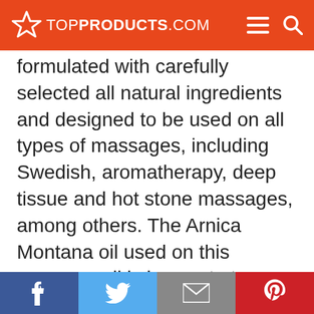TOPPRODUCTS.COM
formulated with carefully selected all natural ingredients and designed to be used on all types of massages, including Swedish, aromatherapy, deep tissue and hot stone massages, among others. The Arnica Montana oil used on this massage oil is known to tame swelling and relieve muscle pain, while thyme relieves joint pain, including that caused by arthritis, rheumatism, and gout. Other therapeutic all natural ingredients used in this massage oil include rosemary, lemongrass,
Facebook | Twitter | Email | Pinterest